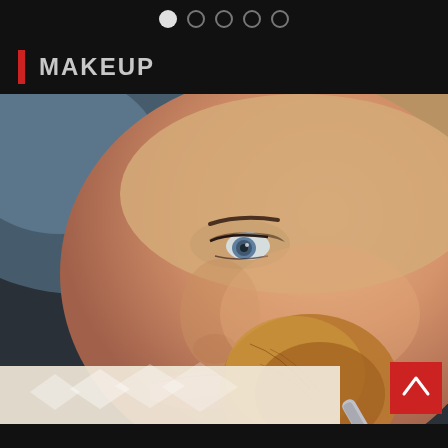[Figure (other): Pagination dots: one filled white circle followed by four empty/outline circles, centered on dark background]
MAKEUP
[Figure (photo): Close-up photo of a young woman receiving makeup application with a large powder brush near her cheek, with eye-level angle showing detailed eye makeup. A back-to-top arrow button in red is overlaid at bottom right. A partial thumbnail strip is visible at bottom left.]